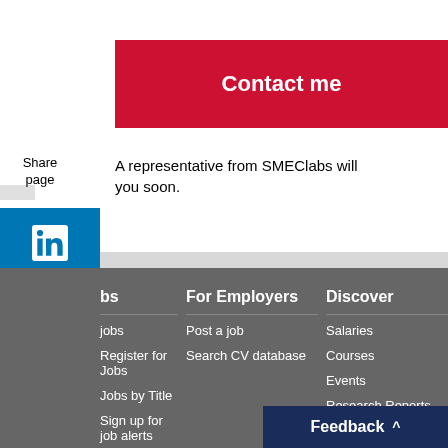Contact me
A representative from SMEClabs will you soon.
Share page
[Figure (other): LinkedIn social share icon - blue square with 'in' logo]
[Figure (other): Facebook social share icon - purple square with 'f' logo]
[Figure (other): Twitter social share icon - light blue square with bird logo]
[Figure (other): Facebook Messenger social share icon - blue square with messenger logo]
[Figure (other): Email share icon - grey square with envelope logo]
bs
For Employers
Discover
jobs
Register for Jobs
Jobs by Title
Sign up for job alerts
Build online CV
Post a job
Search CV database
Salaries
Courses
Events
Research Reports
Feedback